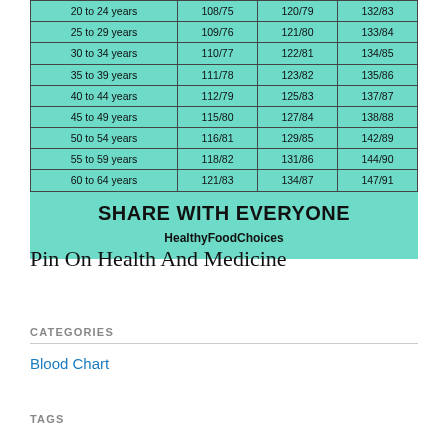[Figure (table-as-image): Blood pressure by age chart on teal background with share with everyone text and HealthyFoodChoices branding]
Pin On Health And Medicine
CATEGORIES
Blood Chart
TAGS